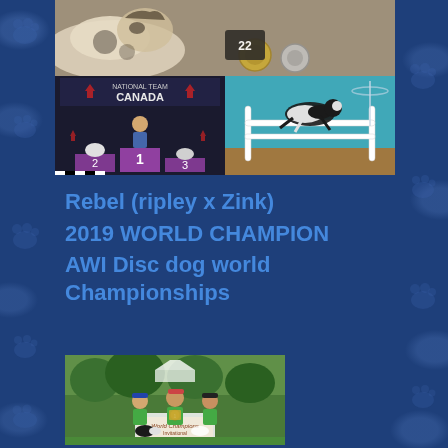[Figure (photo): Top photo: dog lying down with medals/ribbons on a surface]
[Figure (photo): Bottom left photo: dog handlers on podium under Canada National Team banner, showing 1st place]
[Figure (photo): Bottom right photo: black and white border collie jumping over agility hurdle against teal background]
Rebel (ripley x Zink) 2019 WORLD CHAMPION AWI Disc dog world Championships
[Figure (photo): Three people in green shirts on an outdoor podium at a disc dog championship event with dogs]